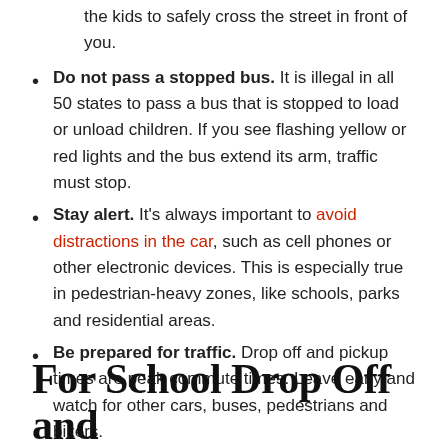the kids to safely cross the street in front of you.
Do not pass a stopped bus. It is illegal in all 50 states to pass a bus that is stopped to load or unload children. If you see flashing yellow or red lights and the bus extend its arm, traffic must stop.
Stay alert. It's always important to avoid distractions in the car, such as cell phones or other electronic devices. This is especially true in pedestrian-heavy zones, like schools, parks and residential areas.
Be prepared for traffic. Drop off and pickup times are peak commute times. Leave early and watch for other cars, buses, pedestrians and bikers.
For School Drop Off and